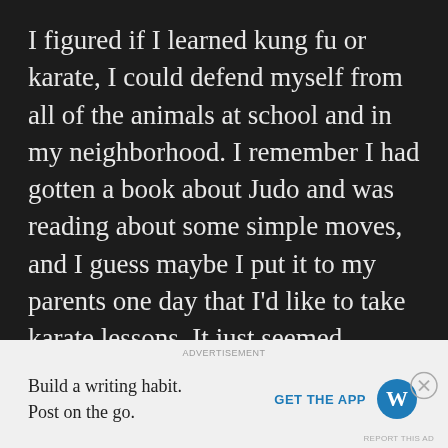I figured if I learned kung fu or karate, I could defend myself from all of the animals at school and in my neighborhood. I remember I had gotten a book about Judo and was reading about some simple moves, and I guess maybe I put it to my parents one day that I'd like to take karate lessons. It just seemed practical, cool and I liked the idea and philosophy behind it all. You have this amazing fighting skill but you only use it for the forces of good. You never pick a fight, you only use it to defend yourself and your loved ones. That's like some superhero stuff right there. I figured that
[Figure (other): Advertisement banner: WordPress app promotion. Text: 'Build a writing habit. Post on the go.' with 'GET THE APP' link and WordPress logo.]